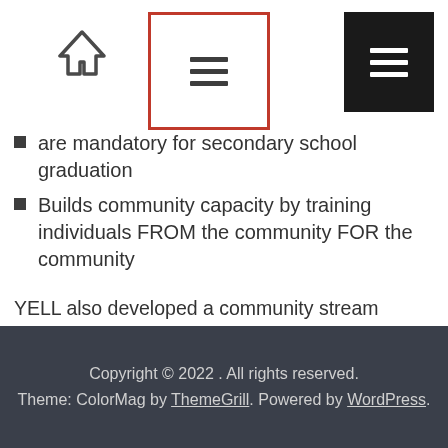Navigation header with home icon, outlined menu button, and black menu button
are mandatory for secondary school graduation
Builds community capacity by training individuals FROM the community FOR the community
YELL also developed a community stream engaging and training youth leaders who face systemic barriers to actively engage sports or recreation activities; focusing on these youth we are able to work with other programs and services and streamline them to become leaders and role models for other children in our community.
Copyright © 2022 . All rights reserved. Theme: ColorMag by ThemeGrill. Powered by WordPress.